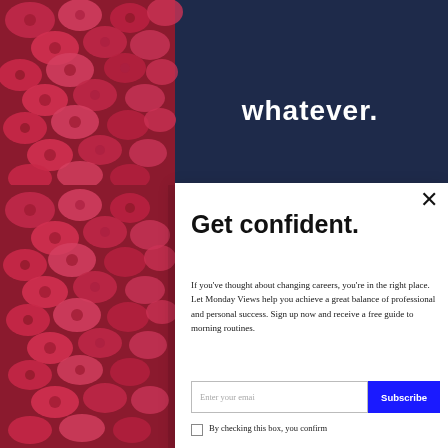[Figure (photo): Background photo showing a person wearing a dark navy t-shirt with 'whatever.' text, surrounded by red/pink flowers on the left side.]
×
Get confident.
If you've thought about changing careers, you're in the right place. Let Monday Views help you achieve a great balance of professional and personal success. Sign up now and receive a free guide to morning routines.
Enter your email
Subscribe
By checking this box, you confirm